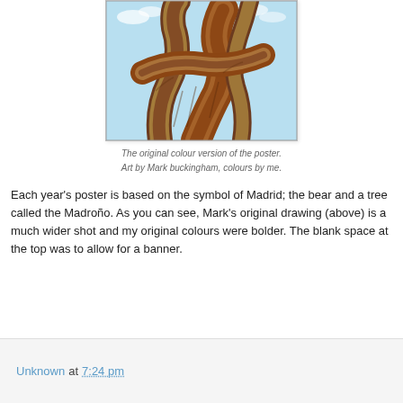[Figure (illustration): Comic art illustration showing a bear and a Madroño tree with a light blue sky background, colored in warm browns and tans. Shows the torso and tree from a close-up angle.]
The original colour version of the poster.
Art by Mark buckingham, colours by me.
Each year's poster is based on the symbol of Madrid; the bear and a tree called the Madroño. As you can see, Mark's original drawing (above) is a much wider shot and my original colours were bolder. The blank space at the top was to allow for a banner.
Unknown at 7:24 pm